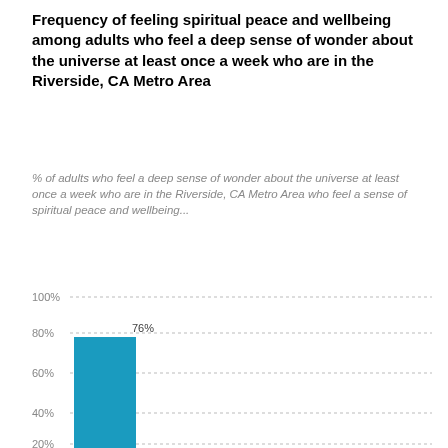Frequency of feeling spiritual peace and wellbeing among adults who feel a deep sense of wonder about the universe at least once a week who are in the Riverside, CA Metro Area
% of adults who feel a deep sense of wonder about the universe at least once a week who are in the Riverside, CA Metro Area who feel a sense of spiritual peace and wellbeing...
[Figure (bar-chart): ]